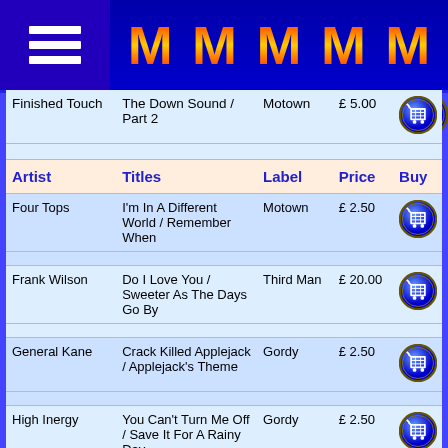M M M M M (Motown music store header)
| Artist | Titles | Label | Price | Buy |
| --- | --- | --- | --- | --- |
| Finished Touch | The Down Sound / Part 2 | Motown | £ 5.00 | buy |
| Four Tops | I'm In A Different World / Remember When | Motown | £ 2.50 | buy |
| Frank Wilson | Do I Love You / Sweeter As The Days Go By | Third Man | £ 20.00 | buy |
| General Kane | Crack Killed Applejack / Applejack's Theme | Gordy | £ 2.50 | buy |
| High Inergy | You Can't Turn Me Off / Save It For A Rainy Day | Gordy | £ 2.50 | buy |